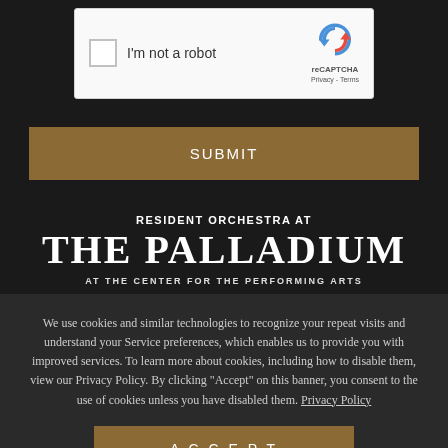[Figure (screenshot): reCAPTCHA widget with checkbox labeled 'I'm not a robot' and reCAPTCHA logo with Privacy and Terms links]
SUBMIT
RESIDENT ORCHESTRA AT THE PALLADIUM
AT THE CENTER FOR THE PERFORMING ARTS
We use cookies and similar technologies to recognize your repeat visits and understand your Service preferences, which enables us to provide you with improved services. To learn more about cookies, including how to disable them, view our Privacy Policy. By clicking "Accept" on this banner, you consent to the use of cookies unless you have disabled them. Privacy Policy
ACCEPT